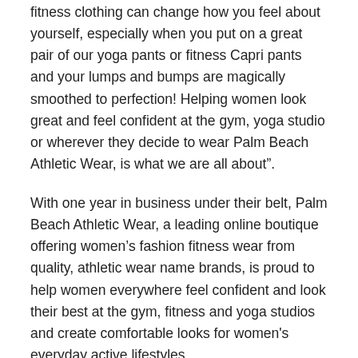fitness clothing can change how you feel about yourself, especially when you put on a great pair of our yoga pants or fitness Capri pants and your lumps and bumps are magically smoothed to perfection! Helping women look great and feel confident at the gym, yoga studio or wherever they decide to wear Palm Beach Athletic Wear, is what we are all about".
With one year in business under their belt, Palm Beach Athletic Wear, a leading online boutique offering women's fashion fitness wear from quality, athletic wear name brands, is proud to help women everywhere feel confident and look their best at the gym, fitness and yoga studios and create comfortable looks for women's everyday active lifestyles.
Visit Palm Beach Athletic Wear on Facebook at, http://www.facebook.com/PalmBeachAthleticWear and